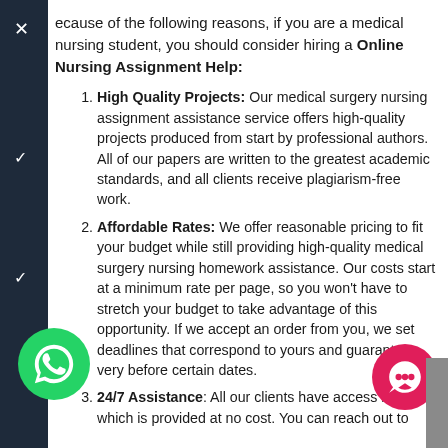ecause of the following reasons, if you are a medical nursing student, you should consider hiring a Online Nursing Assignment Help:
High Quality Projects: Our medical surgery nursing assignment assistance service offers high-quality projects produced from start by professional authors. All of our papers are written to the greatest academic standards, and all clients receive plagiarism-free work.
Affordable Rates: We offer reasonable pricing to fit your budget while still providing high-quality medical surgery nursing homework assistance. Our costs start at a minimum rate per page, so you won't have to stretch your budget to take advantage of this opportunity. If we accept an order from you, we set deadlines that correspond to yours and guarantee very before certain dates.
24/7 Assistance: All our clients have access help, which is provided at no cost. You can reach out to